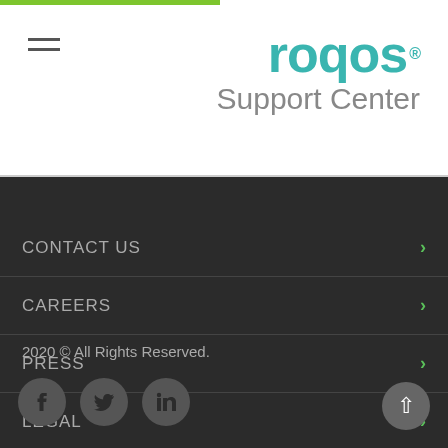[Figure (logo): Roqos Support Center logo with teal/green lettering and registered trademark symbol]
CONTACT US
CAREERS
PRESS
LEGAL
2020 © All Rights Reserved.
[Figure (illustration): Social media icons: Facebook, Twitter, LinkedIn in grey circles]